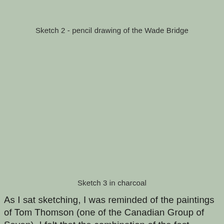Sketch 2 - pencil drawing of the Wade Bridge
[Figure (illustration): Blank sage-green placeholder area representing Sketch 2, a pencil drawing of the Wade Bridge]
Sketch 3 in charcoal
As I sat sketching, I was reminded of the paintings of Tom Thomson (one of the Canadian Group of Seven). I felt that the combination of the fast flowing river, the pine on the